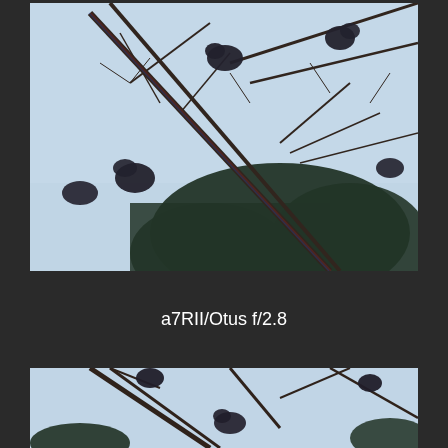[Figure (photo): A blurry photograph of tree branches with birds perched on them against a light blue sky. Dark foliage visible in the lower center-right portion. Image appears slightly out of focus.]
a7RII/Otus f/2.8
[Figure (photo): A partial photograph at the bottom of the page showing tree branches with birds against a light blue sky, similar to the top image but appearing sharper.]